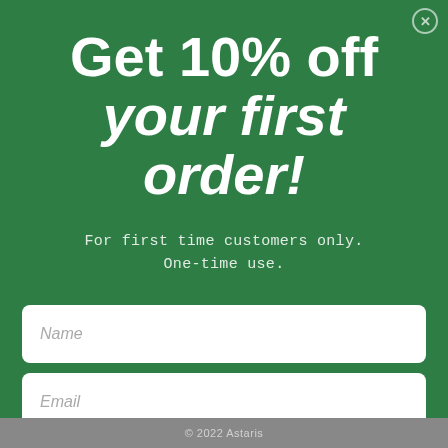Get 10% off your first order!
For first time customers only.
One-time use.
Name
Email
Send me my promo code
© 2022 Astaris